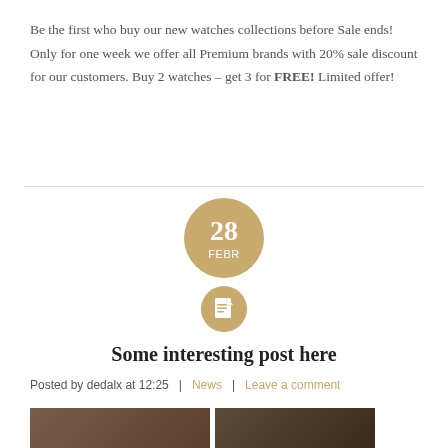Be the first who buy our new watches collections before Sale ends! Only for one week we offer all Premium brands with 20% sale discount for our customers. Buy 2 watches – get 3 for FREE! Limited offer!
[Figure (infographic): Gold circular badge showing date '28 FEBR' and a smaller gold circle with a document/page icon below it]
Some interesting post here
Posted by dedalx at 12:25   |   News   |   Leave a comment
[Figure (photo): Partial photo strip at bottom of page showing dark/brown toned images]